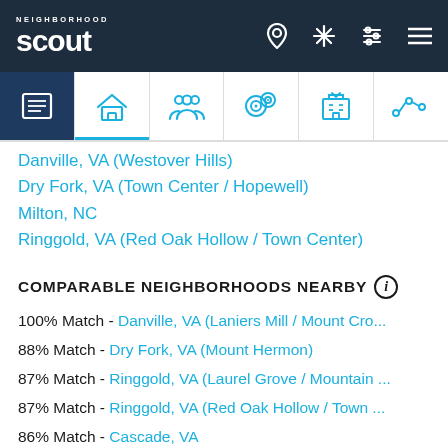Neighborhood Scout navigation bar
Danville, VA (Westover Hills)
Dry Fork, VA (Town Center / Hopewell)
Milton, NC
Ringgold, VA (Red Oak Hollow / Town Center)
COMPARABLE NEIGHBORHOODS NEARBY
100% Match - Danville, VA (Laniers Mill / Mount Cro...
88% Match - Dry Fork, VA (Mount Hermon)
87% Match - Ringgold, VA (Laurel Grove / Mountain ...
87% Match - Ringgold, VA (Red Oak Hollow / Town ...
86% Match - Cascade, VA